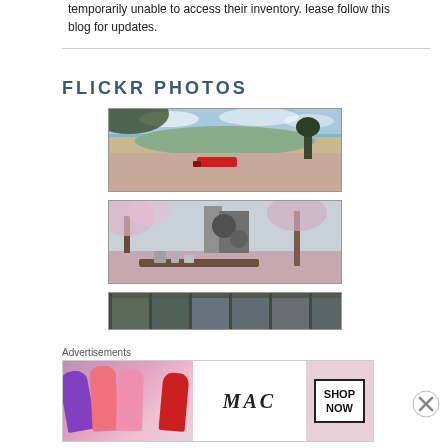temporarily unable to access their inventory. lease follow this blog for updates.
FLICKR PHOTOS
[Figure (photo): Scenic landscape screenshot from a virtual world showing fields, water, cliffs, and a red object, viewed under a blue cloudy sky]
[Figure (photo): Virtual world indoor/outdoor scene with cherry blossom trees, furniture, and decorative objects on a tray]
[Figure (photo): Partially visible screenshot of an indoor virtual environment with greenery visible]
Advertisements
[Figure (photo): MAC cosmetics advertisement banner showing colorful lipsticks, MAC logo, and a SHOP NOW button]